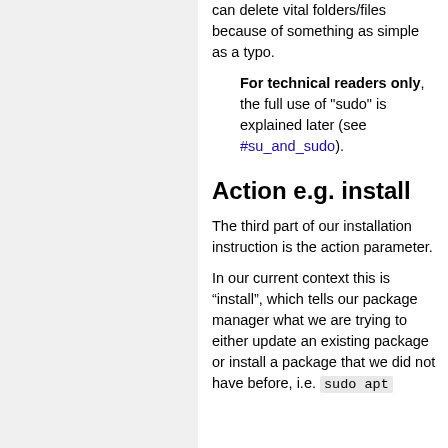can delete vital folders/files because of something as simple as a typo.
For technical readers only, the full use of "sudo" is explained later (see #su_and_sudo).
Action e.g. install
The third part of our installation instruction is the action parameter.
In our current context this is “install”, which tells our package manager what we are trying to either update an existing package or install a package that we did not have before, i.e. sudo apt